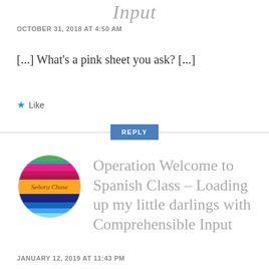Input
OCTOBER 31, 2018 AT 4:50 AM
[...] What’s a pink sheet you ask? [...]
★ Like
REPLY
[Figure (illustration): Circular avatar logo for Señora Chase with colorful horizontal stripes and text 'Señora Chase' in yellow cursive]
Operation Welcome to Spanish Class – Loading up my little darlings with Comprehensible Input
JANUARY 12, 2019 AT 11:43 PM